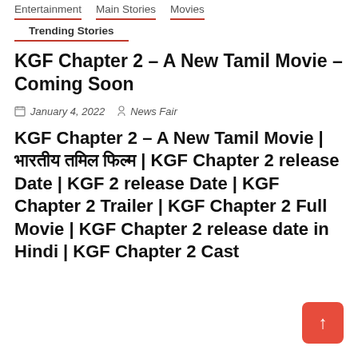Entertainment   Main Stories   Movies
Trending Stories
KGF Chapter 2 – A New Tamil Movie – Coming Soon
January 4, 2022   News Fair
KGF Chapter 2 – A New Tamil Movie | भारतीय तमिल फिल्म | KGF Chapter 2 release Date | KGF 2 release Date | KGF Chapter 2 Trailer | KGF Chapter 2 Full Movie | KGF Chapter 2 release date in Hindi | KGF Chapter 2 Cast